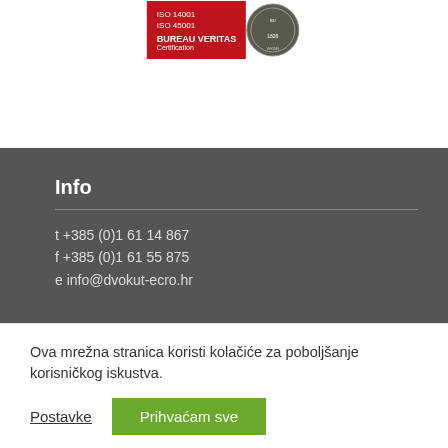[Figure (logo): Bureau Veritas certification badge showing ISO 14001, ISO 45001 standards with red background and circular seal dated 1828]
Info
t +385 (0)1 61 14 867
f +385 (0)1 61 55 875
e info@dvokut-ecro.hr
Ova mrežna stranica koristi kolačiće za poboljšanje korisničkog iskustva.
Postavke   Prihvaćam sve